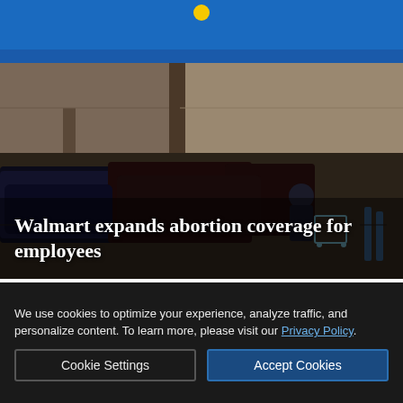[Figure (photo): Walmart store exterior with blue facade and parking lot with cars and a masked shopper pushing a cart]
Walmart expands abortion coverage for employees
[Figure (photo): Headshot thumbnail of a woman with blonde hair]
Sonoma County Farm Bureau picks a new executive director
[Figure (infographic): Advertisement banner: COMMERCIAL REAL ESTATE LOANS - Redwood Credit Union, Equal Housing Lender]
We use cookies to optimize your experience, analyze traffic, and personalize content. To learn more, please visit our Privacy Policy.
Cookie Settings
Accept Cookies